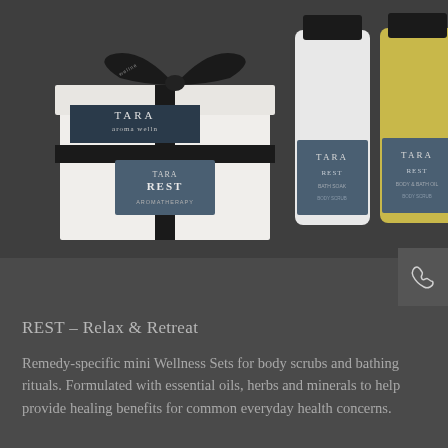[Figure (photo): Product photo of TARA aroma wellness REST Relax & Retreat mini wellness set, showing a white gift box with black ribbon bow and TARA branding, alongside two small glass bottles with blue labels and black caps. Background is dark gray.]
REST – Relax & Retreat
Remedy-specific mini Wellness Sets for body scrubs and bathing rituals. Formulated with essential oils, herbs and minerals to help provide healing benefits for common everyday health concerns.